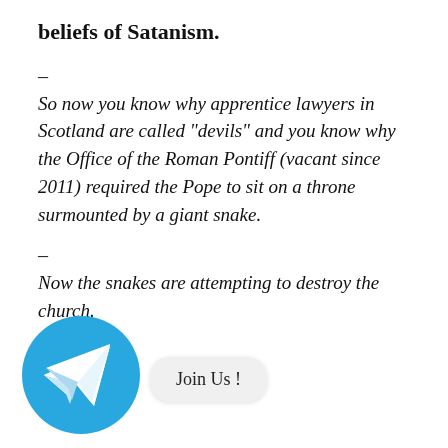beliefs of Satanism.
–
So now you know why apprentice lawyers in Scotland are called “devils” and you know why the Office of the Roman Pontiff (vacant since 2011) required the Pope to sit on a throne surmounted by a giant snake.
–
Now the snakes are attempting to destroy the church.
[Figure (logo): Telegram app icon: blue circle with white paper plane arrow pointing upper-right]
Join Us !